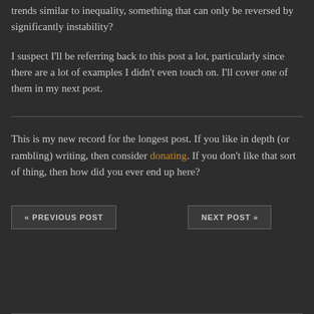trends similar to inequality, something that can only be reversed by significantly instability?
I suspect I'll be referring back to this post a lot, particularly since there are a lot of examples I didn't even touch on. I'll cover one of them in my next post.
This is my new record for the longest post. If you like in depth (or rambling) writing, then consider donating. If you don't like that sort of thing, then how did you ever end up here?
« PREVIOUS POST    NEXT POST »